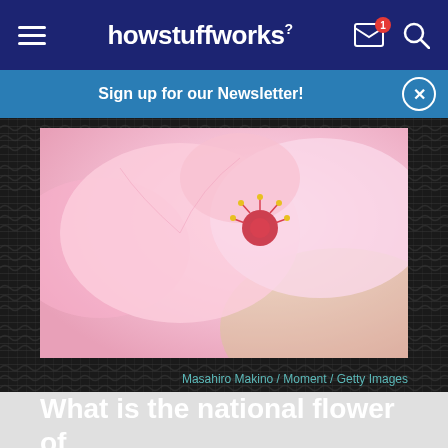howstuffworks
Sign up for our Newsletter!
[Figure (photo): Close-up photograph of pink cherry blossom flowers (sakura) with red stamens, soft focus background]
Masahiro Makino / Moment / Getty Images
What is the national flower of Japan?
Hibiscus